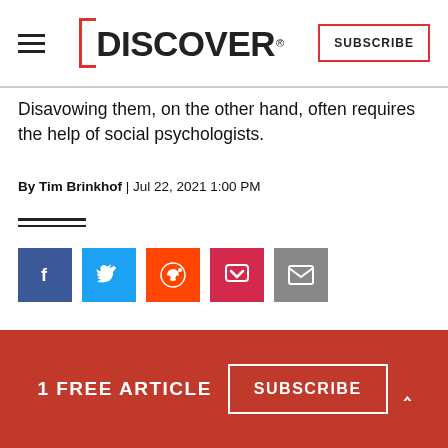DISCOVER — SUBSCRIBE
Disavowing them, on the other hand, often requires the help of social psychologists.
By Tim Brinkhof  |  Jul 22, 2021 1:00 PM
[Figure (infographic): Social media sharing icons: Facebook (blue), Twitter (light blue), Reddit (orange-red), Pocket (pink-red), Email (grey)]
[Figure (photo): Dark background photo showing top of person's head with light-colored hair]
1 FREE ARTICLE   SUBSCRIBE